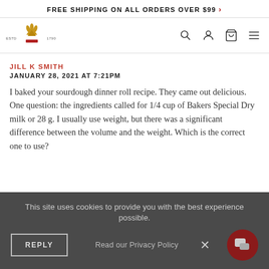FREE SHIPPING ON ALL ORDERS OVER $99 >
[Figure (logo): King Arthur Baking Company logo with crown/wheat icon, ESTD 1790]
JILL K SMITH
JANUARY 28, 2021 AT 7:21PM
I baked your sourdough dinner roll recipe. They came out delicious. One question: the ingredients called for 1/4 cup of Bakers Special Dry milk or 28 g. I usually use weight, but there was a significant difference between the volume and the weight. Which is the correct one to use?
This site uses cookies to provide you with the best experience possible.
Read our Privacy Policy  X
REPLY